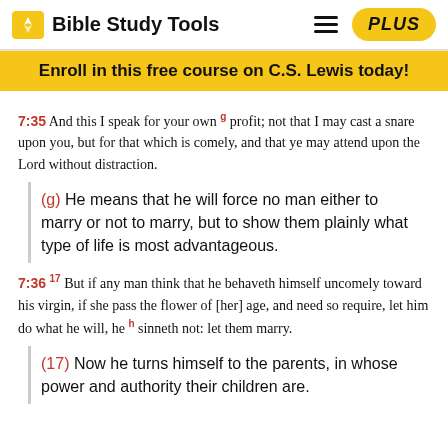Bible Study Tools | PLUS
Enroll in this free course on C.S. Lewis today!
7:35 And this I speak for your own g profit; not that I may cast a snare upon you, but for that which is comely, and that ye may attend upon the Lord without distraction.
(g) He means that he will force no man either to marry or not to marry, but to show them plainly what type of life is most advantageous.
7:36 17 But if any man think that he behaveth himself uncomely toward his virgin, if she pass the flower of [her] age, and need so require, let him do what he will, he h sinneth not: let them marry.
(17) Now he turns himself to the parents, in whose power and authority their children are.